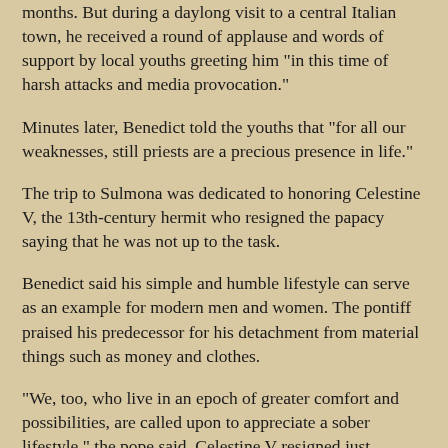months. But during a daylong visit to a central Italian town, he received a round of applause and words of support by local youths greeting him "in this time of harsh attacks and media provocation."
Minutes later, Benedict told the youths that "for all our weaknesses, still priests are a precious presence in life."
The trip to Sulmona was dedicated to honoring Celestine V, the 13th-century hermit who resigned the papacy saying that he was not up to the task.
Benedict said his simple and humble lifestyle can serve as an example for modern men and women. The pontiff praised his predecessor for his detachment from material things such as money and clothes.
"We, too, who live in an epoch of greater comfort and possibilities, are called upon to appreciate a sober lifestyle," the pope said. Celestine V resigned just months after becoming pope in 1294 at age 85. He was later put under guard for fear he would become the rallying point for a schism. Celestine died in 1296 and was